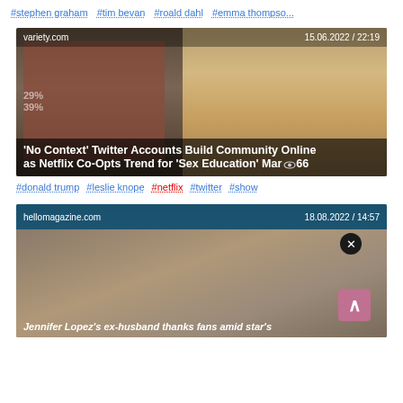#stephen graham #tim bevan #roald dahl #emma thompso...
[Figure (screenshot): News article card from variety.com dated 15.06.2022 / 22:19 showing TV show characters with title "'No Context' Twitter Accounts Build Community Online as Netflix Co-Opts Trend for 'Sex Education' Marketing"]
#donald trump #leslie knope #netflix #twitter #show
[Figure (screenshot): News article card from hellomagazine.com dated 18.08.2022 / 14:57 showing a person with partial headline 'Jennifer Lopez's ex-husband thanks fans amid star's']